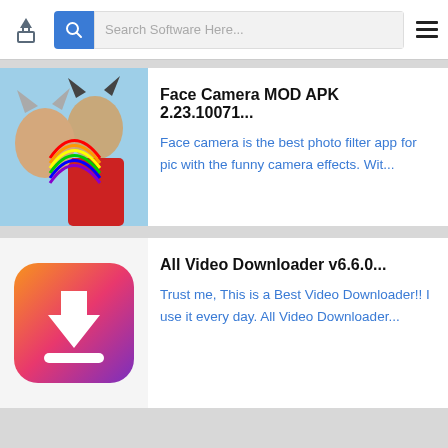Search Software Here...
Face Camera MOD APK 2.23.10071...
Face camera is the best photo filter app for pic with the funny camera effects. Wit...
[Figure (photo): Two people with fun AR filters (cat ears, rainbow) applied to their faces]
All Video Downloader v6.6.0...
Trust me, This is a Best Video Downloader!! I use it every day. All Video Downloader...
[Figure (logo): All Video Downloader app icon: orange-to-purple gradient rounded square with white download arrow and bar]